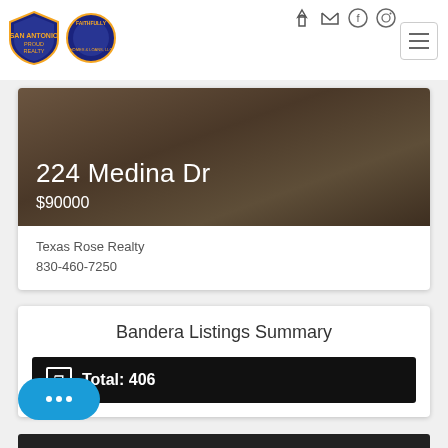San Antonio Proud Realty / Faithfully Homes & Loans LLC — Navigation bar
224 Medina Dr
$90000
Texas Rose Realty
830-460-7250
Bandera Listings Summary
Total: 406